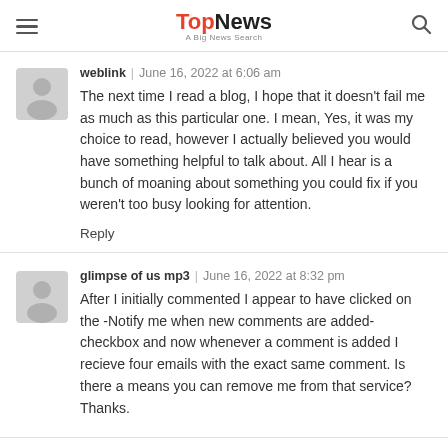TopNews - A Big News Search
weblink | June 16, 2022 at 6:06 am
The next time I read a blog, I hope that it doesn't fail me as much as this particular one. I mean, Yes, it was my choice to read, however I actually believed you would have something helpful to talk about. All I hear is a bunch of moaning about something you could fix if you weren't too busy looking for attention.
Reply
glimpse of us mp3 | June 16, 2022 at 8:32 pm
After I initially commented I appear to have clicked on the -Notify me when new comments are added- checkbox and now whenever a comment is added I recieve four emails with the exact same comment. Is there a means you can remove me from that service? Thanks.